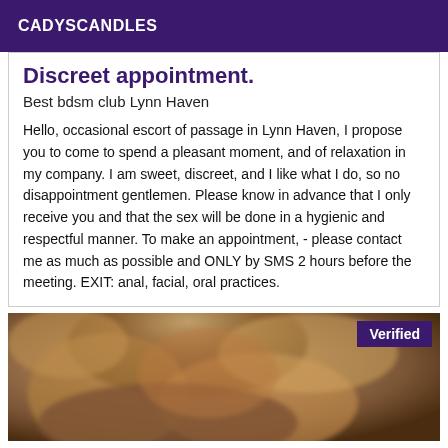CADYSCANDLES
Discreet appointment.
Best bdsm club Lynn Haven
Hello, occasional escort of passage in Lynn Haven, I propose you to come to spend a pleasant moment, and of relaxation in my company. I am sweet, discreet, and I like what I do, so no disappointment gentlemen. Please know in advance that I only receive you and that the sex will be done in a hygienic and respectful manner. To make an appointment, - please contact me as much as possible and ONLY by SMS 2 hours before the meeting. EXIT: anal, facial, oral practices.
[Figure (photo): Blurred close-up photo of a person with blonde/brown hair, with a purple 'Verified' badge in the top-right corner.]